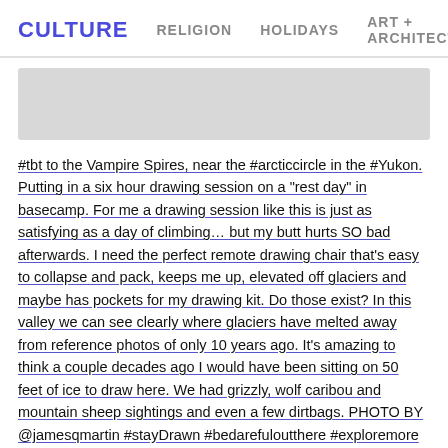CULTURE  RELIGION  HOLIDAYS  ART + ARCHITECTURE
[Figure (photo): Gray placeholder image area representing a photo]
#tbt to the Vampire Spires, near the #arcticcircle in the #Yukon. Putting in a six hour drawing session on a "rest day" in basecamp. For me a drawing session like this is just as satisfying as a day of climbing… but my butt hurts SO bad afterwards. I need the perfect remote drawing chair that's easy to collapse and pack, keeps me up, elevated off glaciers and maybe has pockets for my drawing kit. Do those exist? In this valley we can see clearly where glaciers have melted away from reference photos of only 10 years ago. It's amazing to think a couple decades ago I would have been sitting on 50 feet of ice to draw here. We had grizzly, wolf caribou and mountain sheep sightings and even a few dirtbags. PHOTO BY @jamesqmartin #stayDrawn #bedarefuloutthere #exploremore @pegoodman #drawnthere